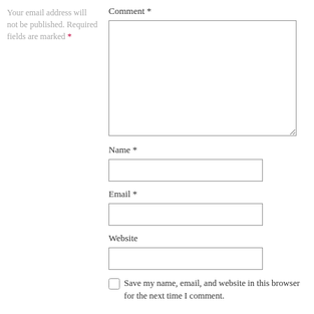Your email address will not be published. Required fields are marked *
Comment *
Name *
Email *
Website
Save my name, email, and website in this browser for the next time I comment.